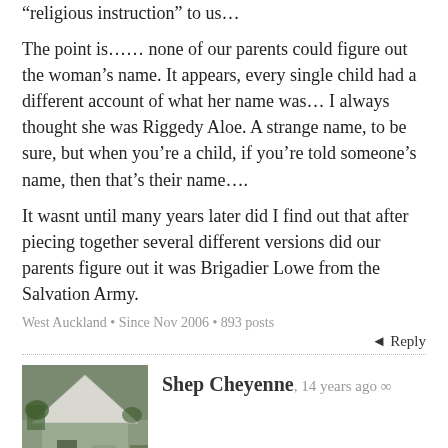“religious instruction” to us…
The point is…… none of our parents could figure out the woman’s name. It appears, every single child had a different account of what her name was… I always thought she was Riggedy Aloe. A strange name, to be sure, but when you’re a child, if you’re told someone’s name, then that’s their name….
It wasnt until many years later did I find out that after piecing together several different versions did our parents figure out it was Brigadier Lowe from the Salvation Army.
West Auckland • Since Nov 2006 • 893 posts
◄ Reply
Shep Cheyenne, 14 years ago ∞
[Figure (photo): Avatar photo of Shep Cheyenne showing a building with a white roof and some greenery]
If you want it as a title you should have to go the whole hog and do the PhD.
…. but it strikes me as a rather pretentious affectation using an academic title outside an